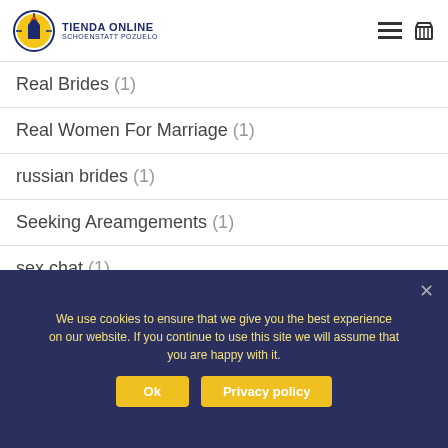TIENDA ONLINE SCHOENSTATT POZUELO
Real Brides (1)
Real Women For Marriage (1)
russian brides (1)
Seeking Areamgements (1)
sex chat (1)
Single Woman (1)
spanish brides (1)
We use cookies to ensure that we give you the best experience on our website. If you continue to use this site we will assume that you are happy with it.
Ok | Privacy policy